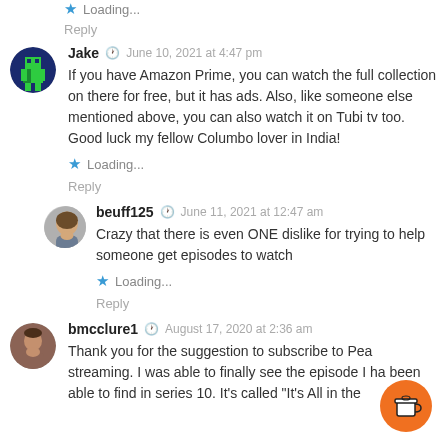Loading...
Reply
Jake  June 10, 2021 at 4:47 pm
If you have Amazon Prime, you can watch the full collection on there for free, but it has ads. Also, like someone else mentioned above, you can also watch it on Tubi tv too. Good luck my fellow Columbo lover in India!
Loading...
Reply
beuff125  June 11, 2021 at 12:47 am
Crazy that there is even ONE dislike for trying to help someone get episodes to watch
Loading...
Reply
bmcclure1  August 17, 2020 at 2:36 am
Thank you for the suggestion to subscribe to Pea streaming. I was able to finally see the episode I ha been able to find in series 10. It's called "It's All in the